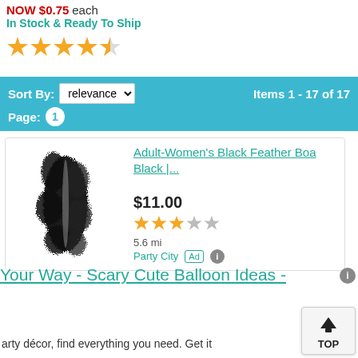NOW $0.75 each
In Stock & Ready To Ship
[Figure (other): 4.5 out of 5 star rating (top area)]
Sort By: relevance   Items 1 - 17 of 17
Page: 1
[Figure (photo): Black feather boa product image]
Adult-Women's Black Feather Boa Black |...
$11.00
3 stars
5.6 mi
Party City
Ad
Your Way - Scary Cute Balloon Ideas -
arty décor, find everything you need. Get it